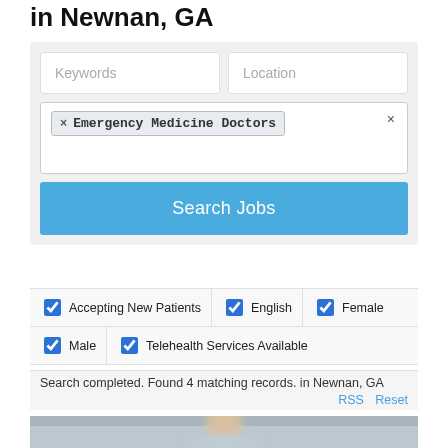in Newnan, GA
[Figure (screenshot): Search form with Keywords and Location input fields, a tag for 'Emergency Medicine Doctors', and a blue 'Search Jobs' button]
Accepting New Patients (checked)
English (checked)
Female (checked)
Male (checked)
Telehealth Services Available (checked)
Search completed. Found 4 matching records. in Newnan, GA
RSS   Reset
[Figure (photo): Blurred photo of a person from the shoulders up against a grey background]